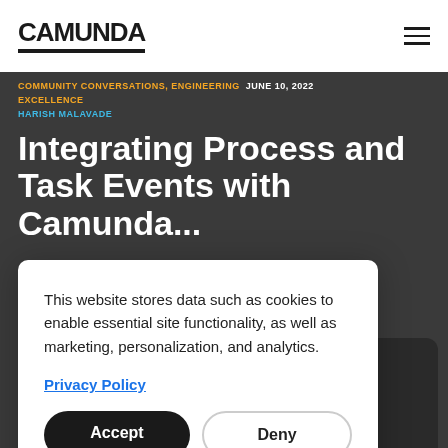CAMUNDA
COMMUNITY CONVERSATIONS, ENGINEERING EXCELLENCE — JUNE 10, 2022
HARISH MALAVADE
Integrating Process and Task Events with Camunda...
This website stores data such as cookies to enable essential site functionality, as well as marketing, personalization, and analytics.
Privacy Policy
Accept
Deny
Questions